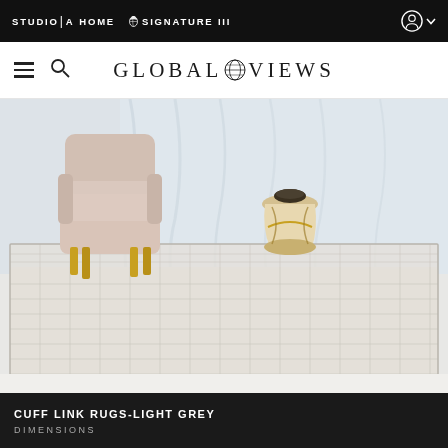STUDIO|A HOME  SIGNATURE III
[Figure (logo): Global Views logo with globe icon between GLOBAL and VIEWS text]
[Figure (photo): Light grey cuff link rug displayed in a modern room setting with a pink armchair with gold legs and a sculptural gold/white side table, white curtains in background]
CUFF LINK RUGS-LIGHT GREY
DIMENSIONS